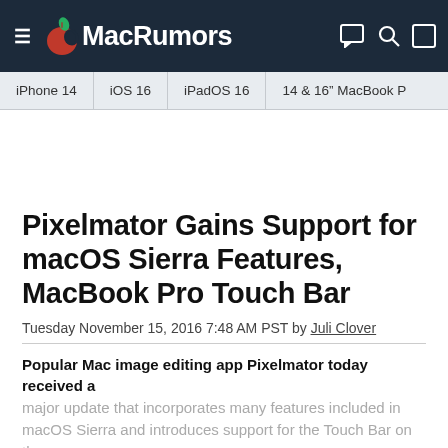MacRumors
iPhone 14  iOS 16  iPadOS 16  14 & 16" MacBook P
Pixelmator Gains Support for macOS Sierra Features, MacBook Pro Touch Bar
Tuesday November 15, 2016 7:48 AM PST by Juli Clover
Popular Mac image editing app Pixelmator today received a major update that incorporates many features included in macOS Sierra and introduces support for the Touch Bar on the